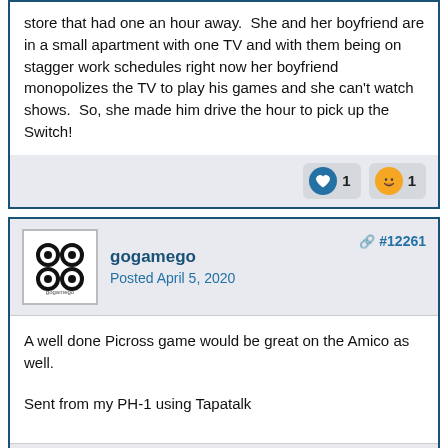store that had one an hour away.  She and her boyfriend are in a small apartment with one TV and with them being on stagger work schedules right now her boyfriend monopolizes the TV to play his games and she can't watch shows.  So, she made him drive the hour to pick up the Switch!
gogamego
Posted April 5, 2020
#12261
A well done Picross game would be great on the Amico as well.
Sent from my PH-1 using Tapatalk